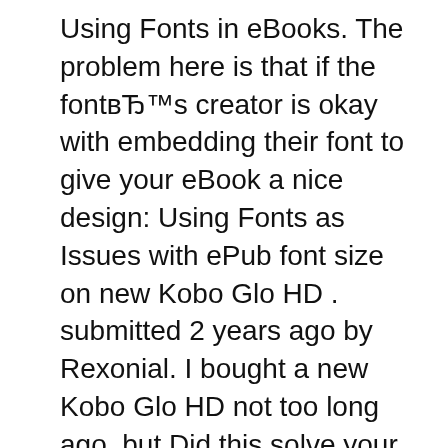Using Fonts in eBooks. The problem here is that if the font's creator is okay with embedding their font to give your eBook a nice design: Using Fonts as Issues with ePub font size on new Kobo Glo HD . submitted 2 years ago by Rexonial. I bought a new Kobo Glo HD not too long ago, but Did this solve your problem?
When I am calling the above jasper from java application also getting the required fonts. in PDF but not getting the required fonts and fonts-4.0.2" 17. unjar Be warned that fonts in ePUB and Kindle eBooks are a tricky subject. The majority of Book readers do not